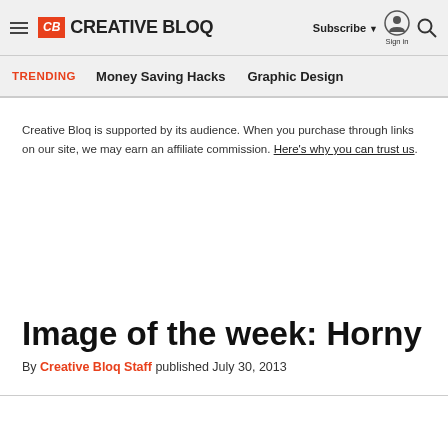CB CREATIVE BLOQ | Subscribe ▼ Sign in 🔍
TRENDING   Money Saving Hacks   Graphic Design
Creative Bloq is supported by its audience. When you purchase through links on our site, we may earn an affiliate commission. Here's why you can trust us.
Image of the week: Horny
By Creative Bloq Staff published July 30, 2013